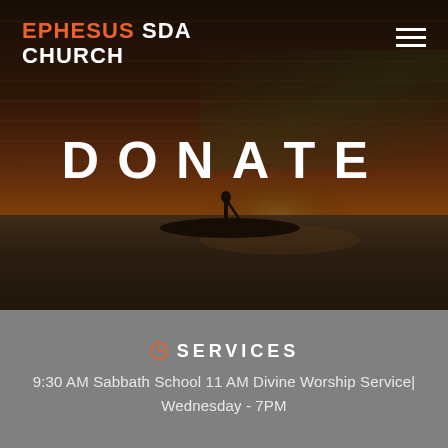EPHESUS SDA CHURCH
[Figure (photo): Silhouette of a person on a boat at sunset over calm water, with warm orange and brown sky tones]
DONATE
SERVICES
9:30 AM Sabbath School 11 AM Divine Worship Service| Wednesday - 7PM